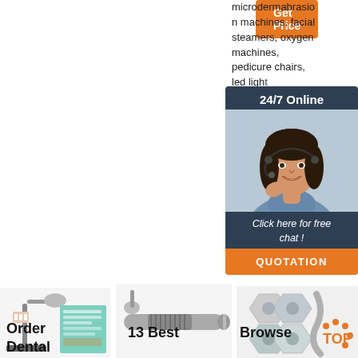[Figure (screenshot): Orange 'Get Price' button at top]
microdermabrasion machines, facial steamers, oxygen machines, pedicure chairs, led light systems, salon equipment and massage tables.
[Figure (infographic): 24/7 Online chat widget with agent photo, 'Click here for free chat!' text, and QUOTATION button]
[Figure (screenshot): Orange 'Get Price' button in middle]
[Figure (photo): Dental chair/cart equipment image]
Order Dental
[Figure (photo): Dental handpiece/drill image]
13 Best
[Figure (photo): Browse dental products collage with hexagonal images]
Browse